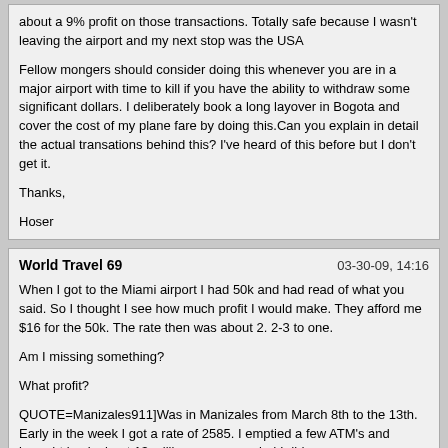about a 9% profit on those transactions. Totally safe because I wasn't leaving the airport and my next stop was the USA

Fellow mongers should consider doing this whenever you are in a major airport with time to kill if you have the ability to withdraw some significant dollars. I deliberately book a long layover in Bogota and cover the cost of my plane fare by doing this.Can you explain in detail the actual transations behind this? I've heard of this before but I don't get it.

Thanks,

Hoser
World Travel 69 | 03-30-09, 14:16

When I got to the Miami airport I had 50k and had read of what you said. So I thought I see how much profit I would make. They afford me $16 for the 50k. The rate then was about 2. 2-3 to one.

Am I missing something?

What profit?

QUOTE=Manizales911]Was in Manizales from March 8th to the 13th. Early in the week I got a rate of 2585. I emptied a few ATM's and brought back about 13 million pesos, so glad I did.

I also had a five hour layover in Bogota so I spent some of that time withdrawing more pesos and exchanging them in the airport for dollars, made about a 9% profit on those transactions. Totally safe because I wasn't leaving the airport and my next stop was the USA

Fellow mongers should consider doing this whenever you are in a major airport with time to kill if you have the ability to withdraw some significant dollars. I deliberately book a long layover in Bogota and cover the cost of my plane fare by doing this.[/QUOTE]